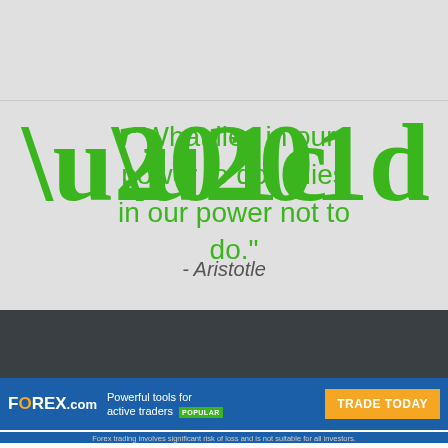“What lies in our power to do, it lies in our power not to do.”
- Aristotle
LEARN FOREX
COMPA
FOREX.com  Powerful tools for active traders  POPULAR  TRADE TODAY
Forex trading involves significant risk of loss and is not suitable for all investors.